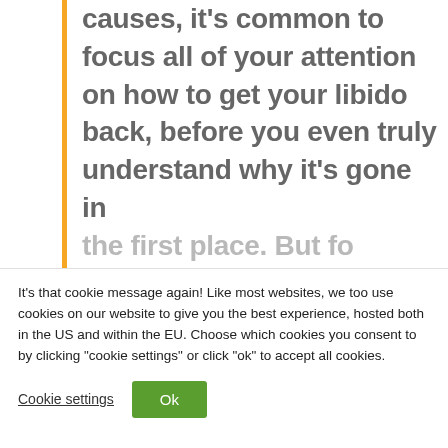…because of the different causes, it's common to focus all of your attention on how to get your libido back, before you even truly understand why it's gone in the first place. But for…
It's that cookie message again! Like most websites, we too use cookies on our website to give you the best experience, hosted both in the US and within the EU. Choose which cookies you consent to by clicking "cookie settings" or click "ok" to accept all cookies.
Cookie settings
Ok